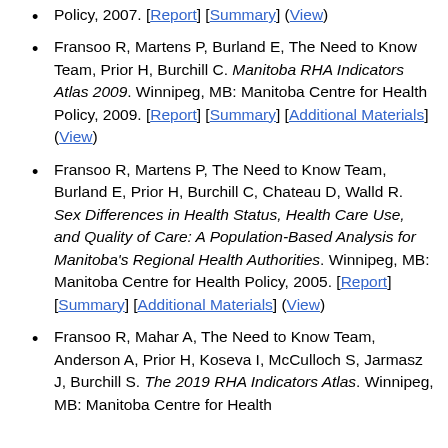Policy, 2007. [Report] [Summary] (View)
Fransoo R, Martens P, Burland E, The Need to Know Team, Prior H, Burchill C. Manitoba RHA Indicators Atlas 2009. Winnipeg, MB: Manitoba Centre for Health Policy, 2009. [Report] [Summary] [Additional Materials] (View)
Fransoo R, Martens P, The Need to Know Team, Burland E, Prior H, Burchill C, Chateau D, Walld R. Sex Differences in Health Status, Health Care Use, and Quality of Care: A Population-Based Analysis for Manitoba's Regional Health Authorities. Winnipeg, MB: Manitoba Centre for Health Policy, 2005. [Report] [Summary] [Additional Materials] (View)
Fransoo R, Mahar A, The Need to Know Team, Anderson A, Prior H, Koseva I, McCulloch S, Jarmasz J, Burchill S. The 2019 RHA Indicators Atlas. Winnipeg, MB: Manitoba Centre for Health